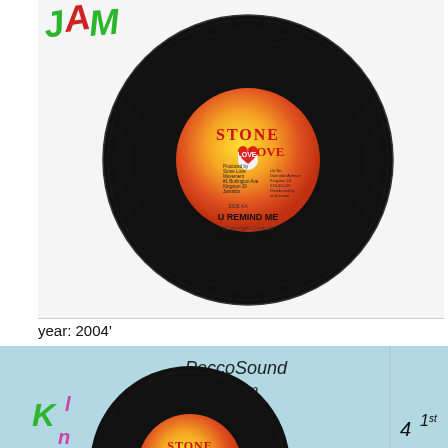[Figure (photo): A 7-inch vinyl record (45 RPM) with a Stone Love music label showing 'U REMIND ME' by Singing Prince, placed on a white background with green and red handwritten text 'JAM' in top left corner.]
year: 2004'
[Figure (photo): A second 7-inch vinyl record with Stone Love label on a light blue background sleeve. Handwritten text reads 'PeccoSound System', with letters 'K' in green and other markings. Bottom right has handwritten '4 1st'.]